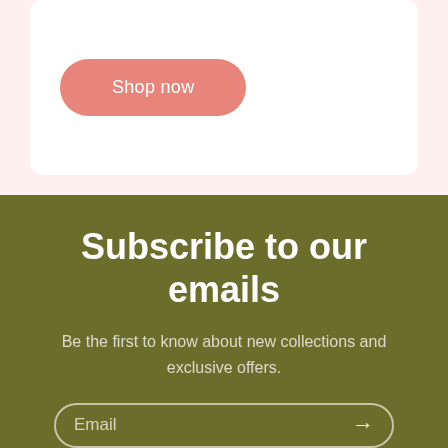[Figure (screenshot): White card on light pink background with a salmon/coral rounded 'Shop now' button on the left side]
Subscribe to our emails
Be the first to know about new collections and exclusive offers.
Email →